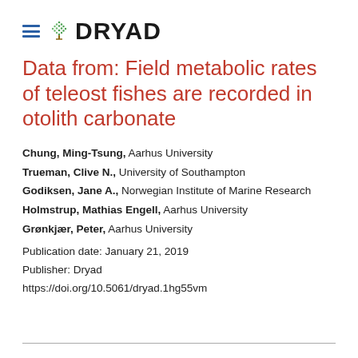DRYAD
Data from: Field metabolic rates of teleost fishes are recorded in otolith carbonate
Chung, Ming-Tsung, Aarhus University
Trueman, Clive N., University of Southampton
Godiksen, Jane A., Norwegian Institute of Marine Research
Holmstrup, Mathias Engell, Aarhus University
Grønkjær, Peter, Aarhus University
Publication date: January 21, 2019
Publisher: Dryad
https://doi.org/10.5061/dryad.1hg55vm